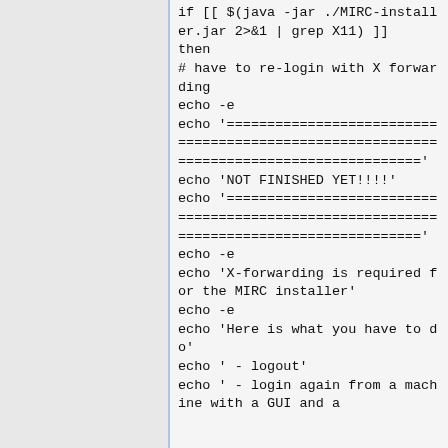if [[ $(java -jar ./MIRC-installer.jar 2>&1 | grep X11) ]]
then
# have to re-login with X forwarding
echo -e
echo '================================================'
echo 'NOT FINISHED YET!!!!'
echo '================================================'
echo -e
echo 'X-forwarding is required for the MIRC installer'
echo -e
echo 'Here is what you have to do'
echo ' - logout'
echo ' - login again from a machine with a GUI and a